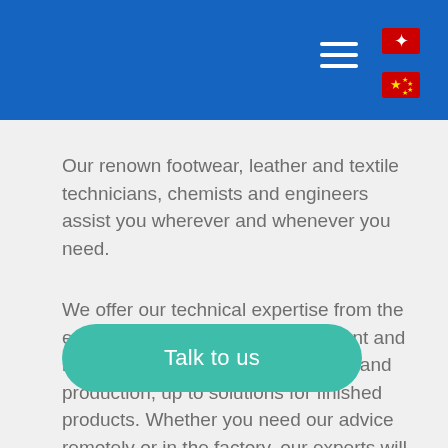Our renown footwear, leather and textile technicians, chemists and engineers assist you wherever and whenever you need.
We offer our technical expertise from the early stages of product development and material selection, during sampling and production, up to solutions for finished products. Whether you need our advice remotely or in the factory, our experts will be available even in remote areas and fulfill your requests.
Talk to us